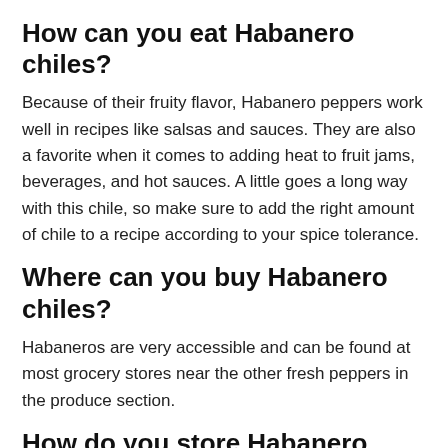How can you eat Habanero chiles?
Because of their fruity flavor, Habanero peppers work well in recipes like salsas and sauces. They are also a favorite when it comes to adding heat to fruit jams, beverages, and hot sauces. A little goes a long way with this chile, so make sure to add the right amount of chile to a recipe according to your spice tolerance.
Where can you buy Habanero chiles?
Habaneros are very accessible and can be found at most grocery stores near the other fresh peppers in the produce section.
How do you store Habanero chiles?